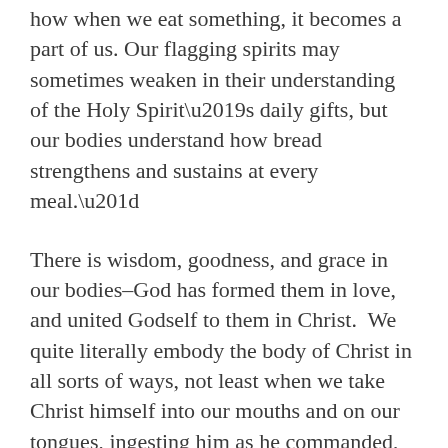how when we eat something, it becomes a part of us. Our flagging spirits may sometimes weaken in their understanding of the Holy Spirit’s daily gifts, but our bodies understand how bread strengthens and sustains at every meal.”
There is wisdom, goodness, and grace in our bodies–God has formed them in love, and united Godself to them in Christ.  We quite literally embody the body of Christ in all sorts of ways, not least when we take Christ himself into our mouths and on our tongues, ingesting him as he commanded, that we might live forever, nourished by his very flesh and blood.